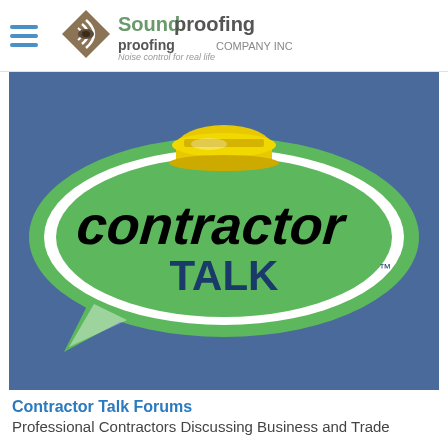[Figure (logo): Soundproofing Company Inc logo with hamburger menu icon on the left]
[Figure (logo): Contractor Talk logo - green speech bubble with yellow hard hat, text 'Contractor TALK' on steel blue background]
Contractor Talk Forums
Professional Contractors Discussing Business and Trade